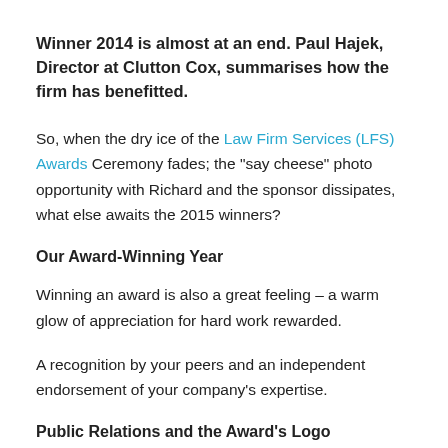Winner 2014 is almost at an end. Paul Hajek, Director at Clutton Cox, summarises how the firm has benefitted.
So, when the dry ice of the Law Firm Services (LFS) Awards Ceremony fades; the "say cheese" photo opportunity with Richard and the sponsor dissipates, what else awaits the 2015 winners?
Our Award-Winning Year
Winning an award is also a great feeling – a warm glow of appreciation for hard work rewarded.
A recognition by your peers and an independent endorsement of your company's expertise.
Public Relations and the Award's Logo
If you've got it flaunt it – as the saying goes.